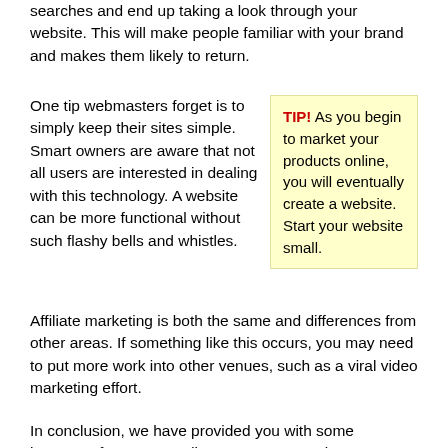searches and end up taking a look through your website. This will make people familiar with your brand and makes them likely to return.
One tip webmasters forget is to simply keep their sites simple. Smart owners are aware that not all users are interested in dealing with this technology. A website can be more functional without such flashy bells and whistles.
TIP! As you begin to market your products online, you will eventually create a website. Start your website small.
Affiliate marketing is both the same and differences from other areas. If something like this occurs, you may need to put more work into other venues, such as a viral video marketing effort.
In conclusion, we have provided you with some important factors regarding Internet promotion. Hopefully, you've